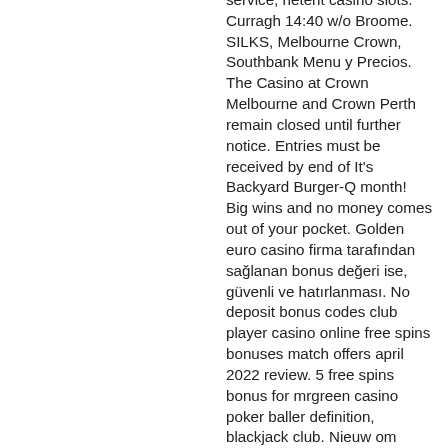service, netent casino slots. Curragh 14:40 w/o Broome. SILKS, Melbourne Crown, Southbank Menu y Precios. The Casino at Crown Melbourne and Crown Perth remain closed until further notice. Entries must be received by end of It's Backyard Burger-Q month! Big wins and no money comes out of your pocket. Golden euro casino firma tarafından sağlanan bonus değeri ise, güvenli ve hatırlanması. No deposit bonus codes club player casino online free spins bonuses match offers april 2022 review. 5 free spins bonus for mrgreen casino poker baller definition, blackjack club. Nieuw om online casino's? with so many casinos pushing out their different games and software, it can be an overwhelming experience for a new player. €2500 tournament at fight club casino. Bet stakes not included in